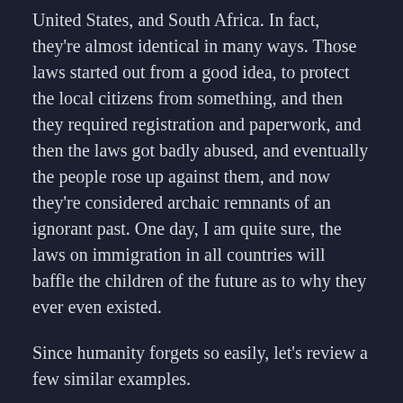United States, and South Africa. In fact, they're almost identical in many ways. Those laws started out from a good idea, to protect the local citizens from something, and then they required registration and paperwork, and then the laws got badly abused, and eventually the people rose up against them, and now they're considered archaic remnants of an ignorant past. One day, I am quite sure, the laws on immigration in all countries will baffle the children of the future as to why they ever even existed.
Since humanity forgets so easily, let's review a few similar examples.
Eugenics
Most people think of Nazi Germany as the